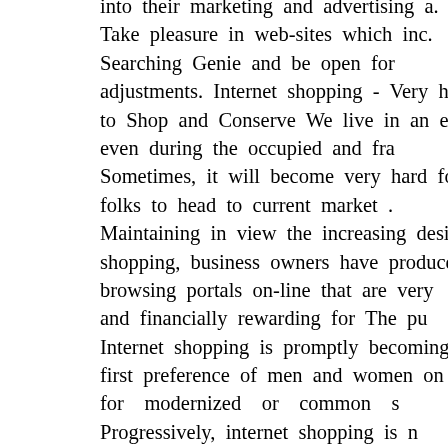into their marketing and advertising a. Take pleasure in web-sites which inc. Searching Genie and be open for adjustments. Internet shopping - Very h to Shop and Conserve We live in an era c even during the occupied and fra Sometimes, it will become very hard for folks to head to current market . Maintaining in view the increasing desire shopping, business owners have produce browsing portals on-line that are very and financially rewarding for The pu Internet shopping is promptly becoming first preference of men and women on t for modernized or common s Progressively, internet shopping is accepted as the new and trendy m purchasing. It is becoming popular due to people have many other issues to carry their chaotic lifetime and shopping online time in quite a few approaches. Th process of shopping on the web is simple and straightforward. We now have samples of web pages that aid shopping